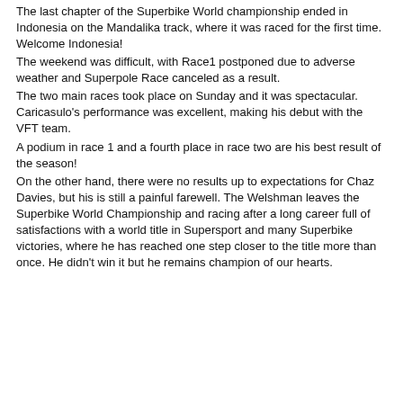The last chapter of the Superbike World championship ended in Indonesia on the Mandalika track, where it was raced for the first time. Welcome Indonesia!
The weekend was difficult, with Race1 postponed due to adverse weather and Superpole Race canceled as a result.
The two main races took place on Sunday and it was spectacular. Caricasulo's performance was excellent, making his debut with the VFT team.
A podium in race 1 and a fourth place in race two are his best result of the season!
On the other hand, there were no results up to expectations for Chaz Davies, but his is still a painful farewell. The Welshman leaves the Superbike World Championship and racing after a long career full of satisfactions with a world title in Supersport and many Superbike victories, where he has reached one step closer to the title more than once. He didn't win it but he remains champion of our hearts.